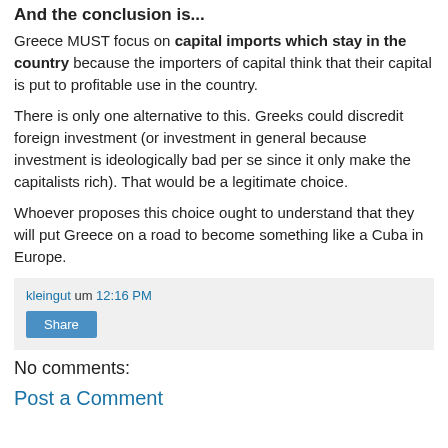And the conclusion is...
Greece MUST focus on capital imports which stay in the country because the importers of capital think that their capital is put to profitable use in the country.
There is only one alternative to this. Greeks could discredit foreign investment (or investment in general because investment is ideologically bad per se since it only make the capitalists rich). That would be a legitimate choice.
Whoever proposes this choice ought to understand that they will put Greece on a road to become something like a Cuba in Europe.
kleingut um 12:16 PM
Share
No comments:
Post a Comment